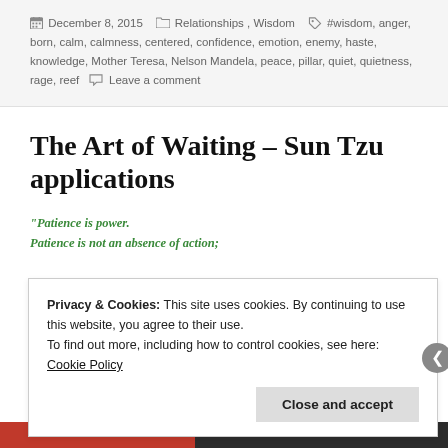December 8, 2015   Relationships, Wisdom   #wisdom, anger, born, calm, calmness, centered, confidence, emotion, enemy, haste, knowledge, Mother Teresa, Nelson Mandela, peace, pillar, quiet, quietness, rage, reef   Leave a comment
The Art of Waiting – Sun Tzu applications
"Patience is power.
Patience is not an absence of action;
Privacy & Cookies: This site uses cookies. By continuing to use this website, you agree to their use.
To find out more, including how to control cookies, see here: Cookie Policy